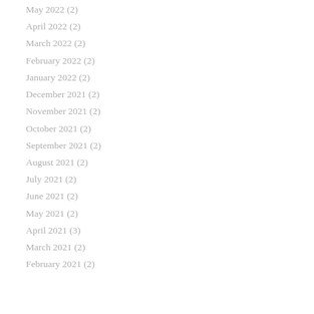May 2022 (2)
April 2022 (2)
March 2022 (2)
February 2022 (2)
January 2022 (2)
December 2021 (2)
November 2021 (2)
October 2021 (2)
September 2021 (2)
August 2021 (2)
July 2021 (2)
June 2021 (2)
May 2021 (2)
April 2021 (3)
March 2021 (2)
February 2021 (2)